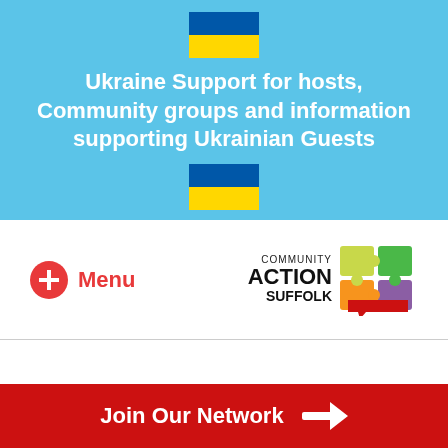[Figure (illustration): Ukrainian flag emoji at top of banner]
Ukraine Support for hosts, Community groups and information supporting Ukrainian Guests
[Figure (illustration): Ukrainian flag emoji at bottom of banner]
[Figure (illustration): Red circle with white plus sign Menu button icon]
Menu
[Figure (logo): Community Action Suffolk logo with colorful puzzle pieces]
Join Our Network →